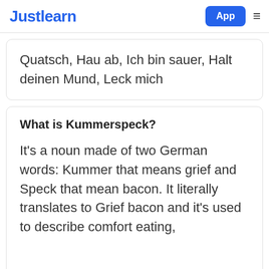Justlearn | App
Quatsch, Hau ab, Ich bin sauer, Halt deinen Mund, Leck mich
What is Kummerspeck?
It's a noun made of two German words: Kummer that means grief and Speck that mean bacon. It literally translates to Grief bacon and it's used to describe comfort eating,